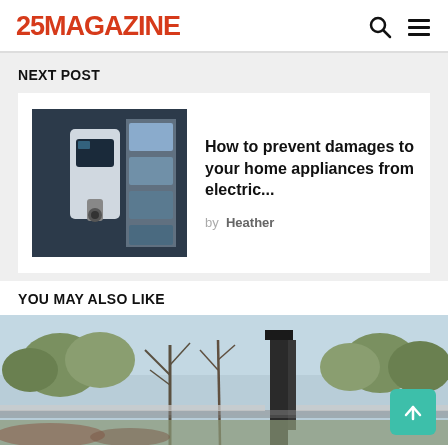25MAGAZINE
NEXT POST
How to prevent damages to your home appliances from electric...
by Heather
YOU MAY ALSO LIKE
[Figure (photo): Exterior landscape photo showing trees, chimney/gate structure and fence in winter/autumn setting]